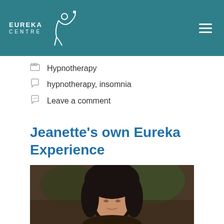EUREKA CENTRE
Hypnotherapy
hypnotherapy, insomnia
Leave a comment
Jeanette's own Eureka Experience
April 12, 2019 by admin
[Figure (photo): Portrait photo of a woman with dark hair, photographed outdoors with a blurred green/brown background]